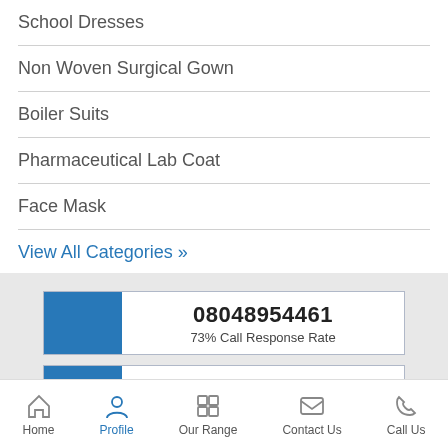School Dresses
Non Woven Surgical Gown
Boiler Suits
Pharmaceutical Lab Coat
Face Mask
View All Categories »
08048954461
73% Call Response Rate
Get Callback
Home | Profile | Our Range | Contact Us | Call Us